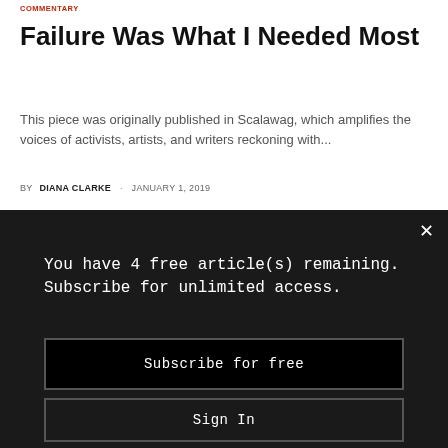COMMENTARY
Failure Was What I Needed Most
This piece was originally published in Scalawag, which amplifies the voices of activists, artists, and writers reckoning with...
BY DIANA CLARKE · JANUARY 1, 2019
You have 4 free article(s) remaining. Subscribe for unlimited access.
Subscribe for free
Sign In